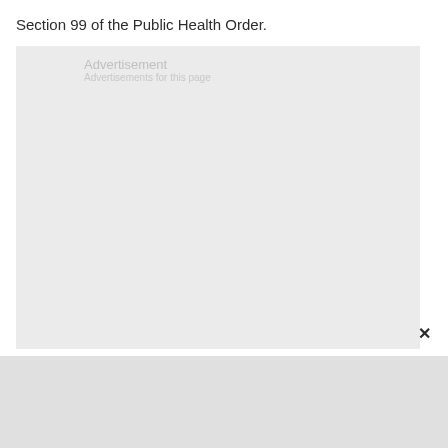Section 99 of the Public Health Order.
[Figure (other): Advertisement placeholder box with light gray background and 'Advertisement' label text in light gray. An X close button appears at the lower right corner of the ad area.]
[Figure (other): Additional gray content area below the advertisement box.]